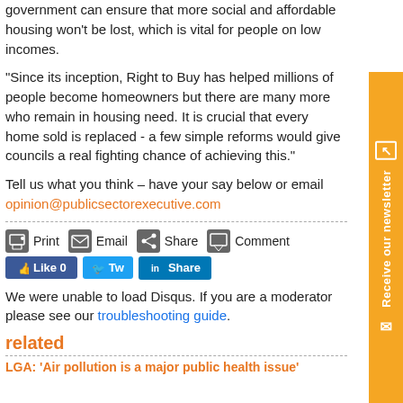government can ensure that more social and affordable housing won't be lost, which is vital for people on low incomes.
“Since its inception, Right to Buy has helped millions of people become homeowners but there are many more who remain in housing need. It is crucial that every home sold is replaced - a few simple reforms would give councils a real fighting chance of achieving this.”
Tell us what you think – have your say below or email opinion@publicsectorexecutive.com
[Figure (infographic): Action bar with Print, Email, Share, Comment buttons; Facebook Like 0, Twitter Tweet, LinkedIn Share social buttons]
We were unable to load Disqus. If you are a moderator please see our troubleshooting guide.
related
LGA: ‘Air pollution is a major public health issue’